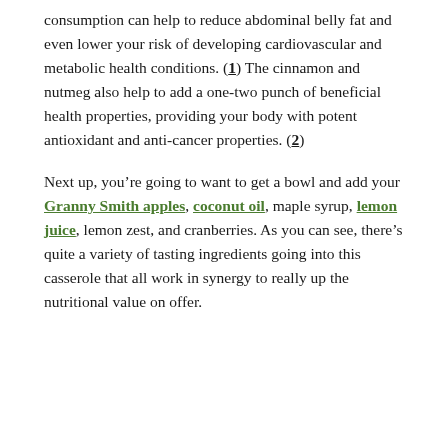consumption can help to reduce abdominal belly fat and even lower your risk of developing cardiovascular and metabolic health conditions. (1) The cinnamon and nutmeg also help to add a one-two punch of beneficial health properties, providing your body with potent antioxidant and anti-cancer properties. (2)
Next up, you're going to want to get a bowl and add your Granny Smith apples, coconut oil, maple syrup, lemon juice, lemon zest, and cranberries. As you can see, there's quite a variety of tasting ingredients going into this casserole that all work in synergy to really up the nutritional value on offer.